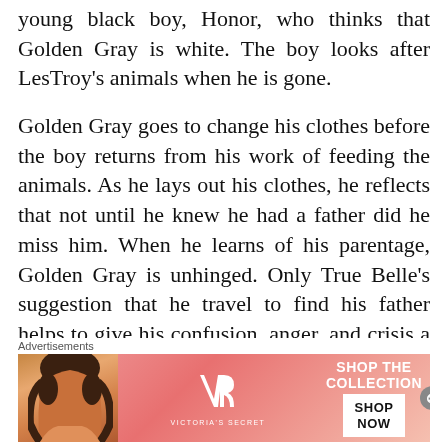young black boy, Honor, who thinks that Golden Gray is white. The boy looks after LesTroy's animals when he is gone.
Golden Gray goes to change his clothes before the boy returns from his work of feeding the animals. As he lays out his clothes, he reflects that not until he knew he had a father did he miss him. When he learns of his parentage, Golden Gray is unhinged. Only True Belle's suggestion that he travel to find his father helps to give his confusion, anger, and crisis a focal point
Advertisements
[Figure (other): Victoria's Secret advertisement banner with a woman model, VS logo, text 'SHOP THE COLLECTION' and a 'SHOP NOW' button]